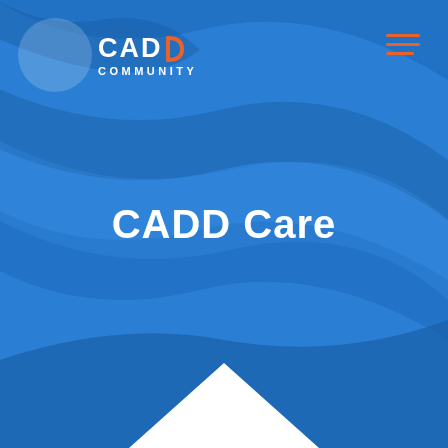[Figure (logo): CADD Community logo with white text and orange D accent on blue circular background]
CADD Care
[Figure (illustration): White upward-pointing arrow/chevron at the bottom center of the page]